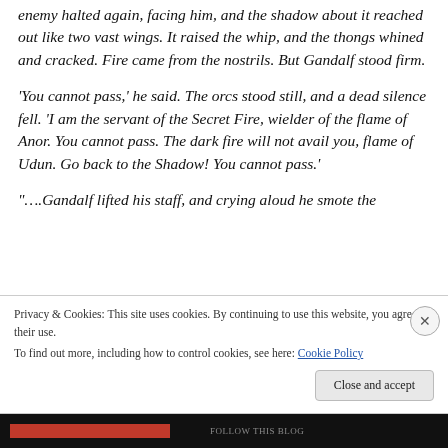enemy halted again, facing him, and the shadow about it reached out like two vast wings. It raised the whip, and the thongs whined and cracked. Fire came from the nostrils. But Gandalf stood firm.
'You cannot pass,' he said. The orcs stood still, and a dead silence fell. 'I am the servant of the Secret Fire, wielder of the flame of Anor. You cannot pass. The dark fire will not avail you, flame of Udun. Go back to the Shadow! You cannot pass.'
"….Gandalf lifted his staff, and crying aloud he smote the
Privacy & Cookies: This site uses cookies. By continuing to use this website, you agree to their use.
To find out more, including how to control cookies, see here: Cookie Policy